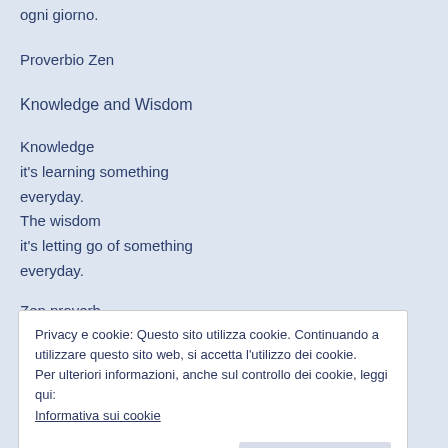ogni giorno.
Proverbio Zen
Knowledge and Wisdom
Knowledge
it's learning something everyday.
The wisdom
it's letting go of something everyday.
Zen proverb
Privacy e cookie: Questo sito utilizza cookie. Continuando a utilizzare questo sito web, si accetta l'utilizzo dei cookie.
Per ulteriori informazioni, anche sul controllo dei cookie, leggi qui:
Informativa sui cookie
Chiudi e accetta